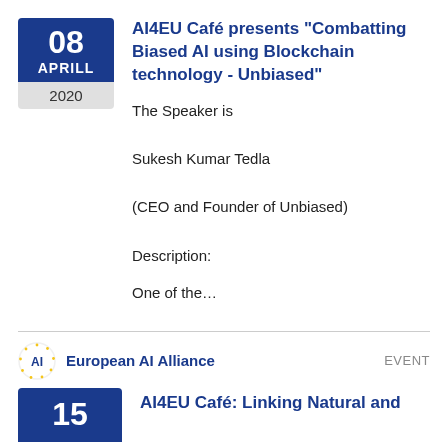[Figure (other): Calendar badge showing date 08 APRILL 2020 in blue and grey]
AI4EU Café presents "Combatting Biased AI using Blockchain technology - Unbiased"
The Speaker is

Sukesh Kumar Tedla

(CEO and Founder of Unbiased)
Description:
One of the…
[Figure (logo): AI4EU European AI Alliance circular logo with stars]
European AI Alliance
EVENT
[Figure (other): Calendar badge showing date 15 in blue]
AI4EU Café: Linking Natural and